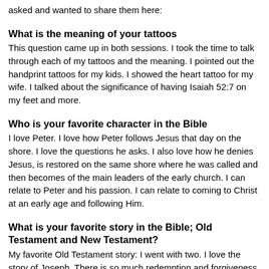asked and wanted to share them here:
What is the meaning of your tattoos
This question came up in both sessions. I took the time to talk through each of my tattoos and the meaning. I pointed out the handprint tattoos for my kids. I showed the heart tattoo for my wife. I talked about the significance of having Isaiah 52:7 on my feet and more.
Who is your favorite character in the Bible
I love Peter. I love how Peter follows Jesus that day on the shore. I love the questions he asks. I also love how he denies Jesus, is restored on the same shore where he was called and then becomes of the main leaders of the early church. I can relate to Peter and his passion. I can relate to coming to Christ at an early age and following Him.
What is your favorite story in the Bible; Old Testament and New Testament?
My favorite Old Testament story: I went with two. I love the story of Joseph. There is so much redemption and forgiveness in there. I also love the story of Shadrach,